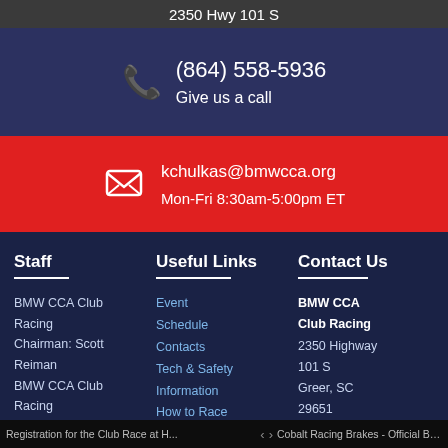2350 Hwy 101 S
(864) 558-5936
Give us a call
kchulkas@bmwcca.org
Mon-Fri 8:30am-5:00pm ET
Staff
Useful Links
Contact Us
BMW CCA Club Racing
Chairman: Scott Reiman
BMW CCA Club Racing
Administrator:
Event Schedule
Contacts
Tech & Safety Information
How to Race
With Us
Rules
BMW CCA Club Racing
2350 Highway 101 S
Greer, SC
29651
864-558-5936
Registration for the Club Race at H...With Us  ›  Cobalt Racing Brakes - Official Bra...